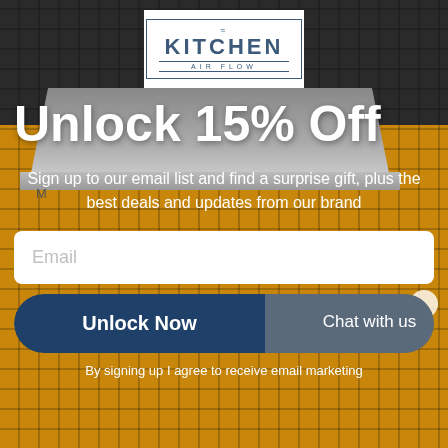[Figure (screenshot): Kitchen with range hood and decorative golden tile backsplash background image]
[Figure (logo): Kitchen Air Flow logo in white box with navy border — squiggle symbol above KITCHEN in large letters, AIR FLOW below]
Unlock 15% Off
Sign up to our email list and find a surprise gift, plus the best deals and updates from our brand
Email
Unlock Now
Chat with us
By signing up I agree to receive email marketing